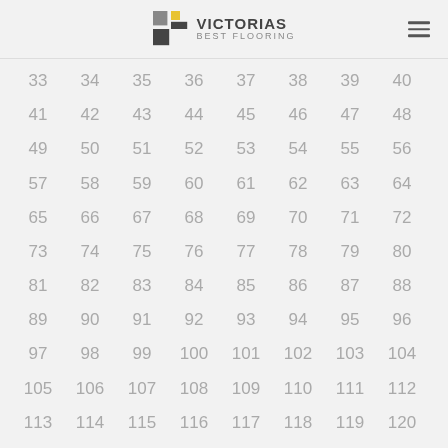VICTORIAS BEST FLOORING
| 33 | 34 | 35 | 36 | 37 | 38 | 39 | 40 |
| 41 | 42 | 43 | 44 | 45 | 46 | 47 | 48 |
| 49 | 50 | 51 | 52 | 53 | 54 | 55 | 56 |
| 57 | 58 | 59 | 60 | 61 | 62 | 63 | 64 |
| 65 | 66 | 67 | 68 | 69 | 70 | 71 | 72 |
| 73 | 74 | 75 | 76 | 77 | 78 | 79 | 80 |
| 81 | 82 | 83 | 84 | 85 | 86 | 87 | 88 |
| 89 | 90 | 91 | 92 | 93 | 94 | 95 | 96 |
| 97 | 98 | 99 | 100 | 101 | 102 | 103 | 104 |
| 105 | 106 | 107 | 108 | 109 | 110 | 111 | 112 |
| 113 | 114 | 115 | 116 | 117 | 118 | 119 | 120 |